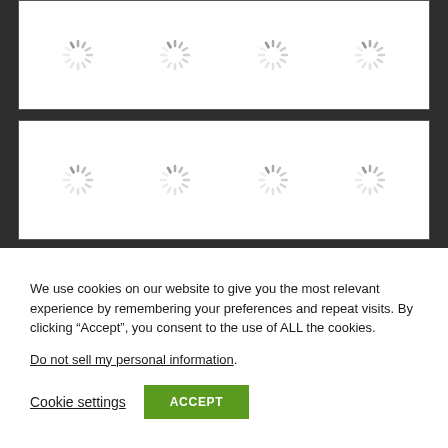[Figure (screenshot): Three rows of loading spinner icons (gray radial spinners) on white background panels, arranged in a 4-column grid layout. Top row shows 4 spinners, middle row shows 4 spinners, bottom row shows 4 partially visible spinners. Background is dark gray.]
We use cookies on our website to give you the most relevant experience by remembering your preferences and repeat visits. By clicking “Accept”, you consent to the use of ALL the cookies.
Do not sell my personal information.
Cookie settings
ACCEPT